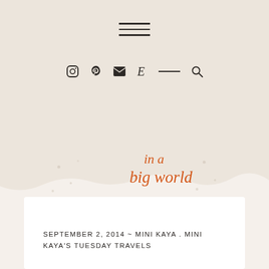[Figure (screenshot): Hamburger menu icon with three horizontal lines centered at the top of the page]
[Figure (screenshot): Navigation icon row with Instagram, Pinterest, email, Etsy, line separator, and search icons]
[Figure (illustration): Wavy beige/cream organic blob shape forming the upper background of the page]
small dolls in a big world
SEPTEMBER 2, 2014 ~ MINI KAYA . MINI KAYA'S TUESDAY TRAVELS